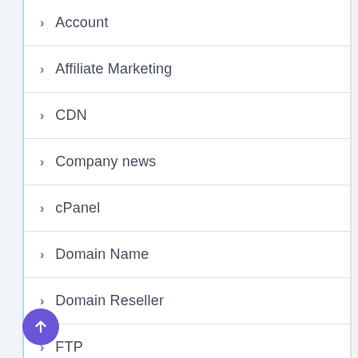Account
Affiliate Marketing
CDN
Company news
cPanel
Domain Name
Domain Reseller
FTP
Hosting